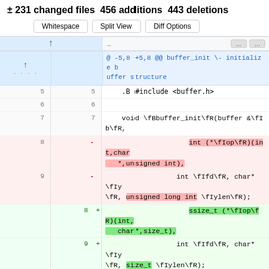± 231 changed files  456 additions  443 deletions
[Figure (screenshot): Code diff view showing buttons: Whitespace, Split View, Diff Options]
@ -5,8 +5,8 @@ buffer_init \- initialize buffer structure
5   5     .B #include <buffer.h>
6   6
7   7     void \fBbuffer_init\fR(buffer &\fIb\fR,
8   -                     int (*\fIop\fR)(int,char *,unsigned int),
9   -                int \fIfd\fR, char* \fIy\fR, unsigned long int \fIylen\fR);
8   +                     ssize_t (*\fIop\fR)(int, char*,size_t),
9   +                int \fIfd\fR, char* \fIy\fR, size_t \fIylen\fR);
10  10    .SH DESCRIPTION
11  11    buffer_init prepares \fIb\fR to store a string in \fIy\fR[0], \fIy\fR[1], ...,
12  12    \fIy\fR[\fIylen\fR-1].  Initially the string is empty.